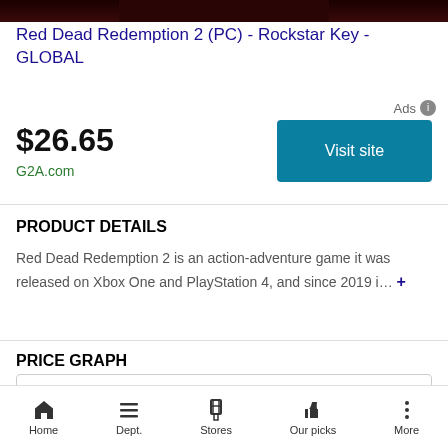[Figure (photo): Red Dead Redemption 2 game cover image thumbnail at top]
Red Dead Redemption 2 (PC) - Rockstar Key - GLOBAL
Ads
$26.65
G2A.com
Visit site
PRODUCT DETAILS
Red Dead Redemption 2 is an action-adventure game it was released on Xbox One and PlayStation 4, and since 2019 i... +
PRICE GRAPH
G2A.com
Home  Dept.  Stores  Our picks  More